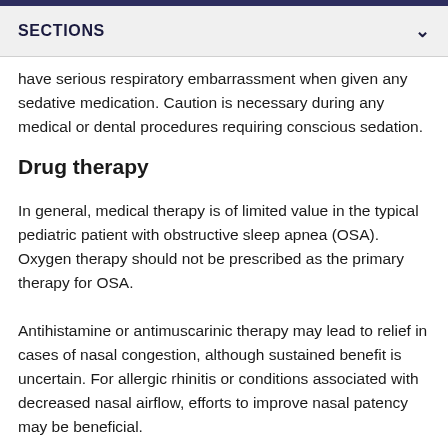SECTIONS
have serious respiratory embarrassment when given any sedative medication. Caution is necessary during any medical or dental procedures requiring conscious sedation.
Drug therapy
In general, medical therapy is of limited value in the typical pediatric patient with obstructive sleep apnea (OSA). Oxygen therapy should not be prescribed as the primary therapy for OSA.
Antihistamine or antimuscarinic therapy may lead to relief in cases of nasal congestion, although sustained benefit is uncertain. For allergic rhinitis or conditions associated with decreased nasal airflow, efforts to improve nasal patency may be beneficial.